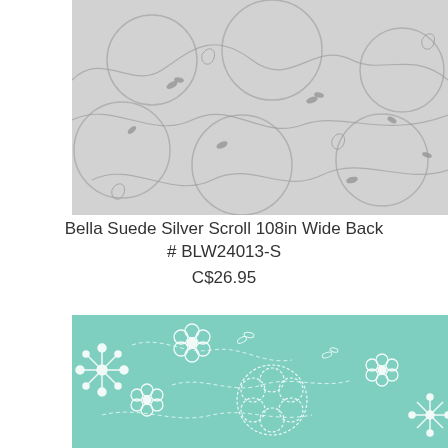[Figure (photo): Gray/silver fabric with dark gray scroll and vine/leaf pattern on light gray background - Bella Suede Silver Scroll 108in Wide Back]
Bella Suede Silver Scroll 108in Wide Back
# BLW24013-S
C$26.95
[Figure (photo): Teal/mint green fabric with white outlined floral and botanical pattern including flowers, leaves, and circular decorative elements]